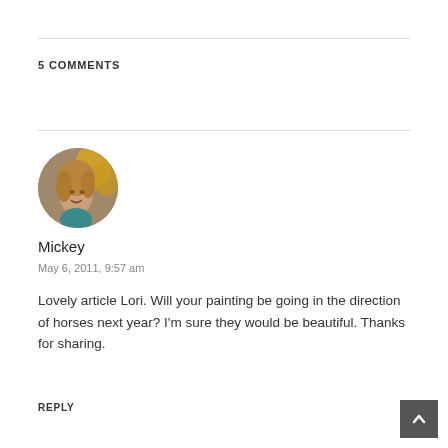5 COMMENTS
[Figure (photo): Circular avatar photo of a woman with blonde hair smiling, with yellow flowers in the background]
Mickey
May 6, 2011, 9:57 am
Lovely article Lori. Will your painting be going in the direction of horses next year? I'm sure they would be beautiful. Thanks for sharing.
REPLY